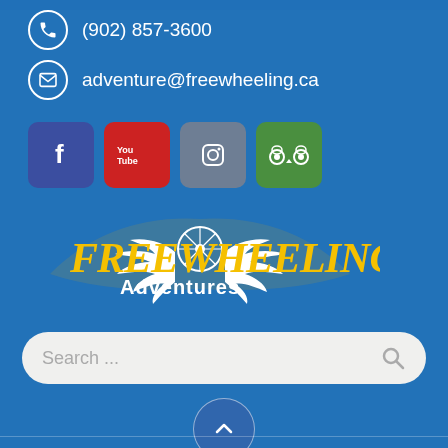(902) 857-3600
adventure@freewheeling.ca
[Figure (logo): Social media icons: Facebook, YouTube, Instagram, TripAdvisor]
[Figure (logo): Freewheeling Adventures logo with winged bicycle wheel]
Search ...
© 2022 Freewheeling Adventures, Inc. All rights reserved.